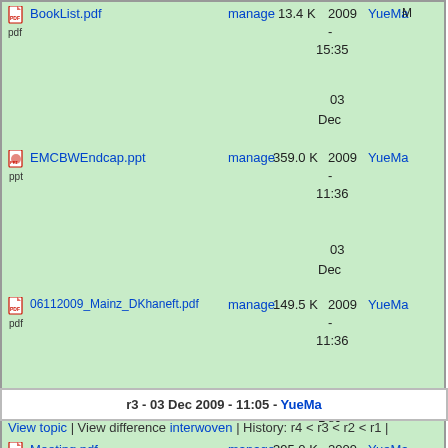BookList.pdf manage 13.4 K 2009 - 15:35 03 Dec YueMa
EMCBWEndcap.ppt manage 359.0 K 2009 - 11:36 03 Dec YueMa
06112009_Mainz_DKhaneft.pdf manage 149.5 K 2009 - 11:36 03 Dec YueMa
Meeting.pdf manage 395.0 K 2009 - 11:34 03 Dec YueMa
r3 - 03 Dec 2009 - 11:05 - YueMa
View topic | View difference interwoven | History: r4 < r3 < r2 < r1 |